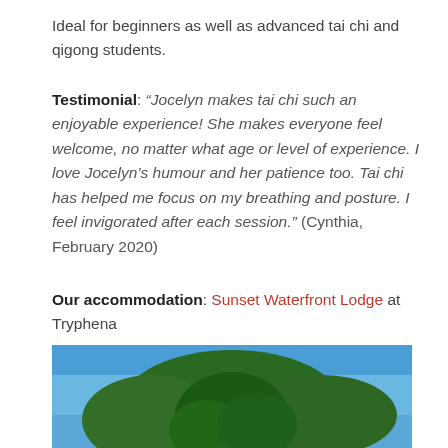Ideal for beginners as well as advanced tai chi and qigong students.
Testimonial: “Jocelyn makes tai chi such an enjoyable experience! She makes everyone feel welcome, no matter what age or level of experience. I love Jocelyn’s humour and her patience too. Tai chi has helped me focus on my breathing and posture. I feel invigorated after each session.” (Cynthia, February 2020)
Our accommodation: Sunset Waterfront Lodge at Tryphena
[Figure (photo): Exterior photograph of Sunset Waterfront Lodge at Tryphena showing green-roofed triangular cabin buildings surrounded by lush greenery and large trees under a blue sky.]